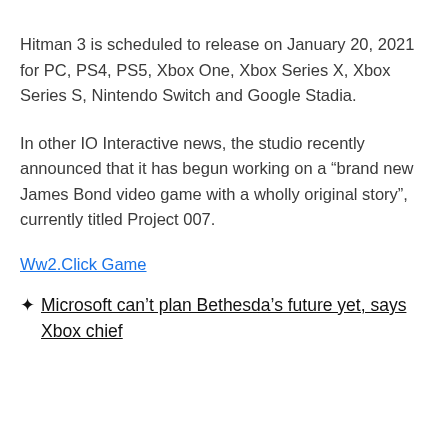Hitman 3 is scheduled to release on January 20, 2021 for PC, PS4, PS5, Xbox One, Xbox Series X, Xbox Series S, Nintendo Switch and Google Stadia.
In other IO Interactive news, the studio recently announced that it has begun working on a “brand new James Bond video game with a wholly original story”, currently titled Project 007.
Ww2.Click Game
★ Microsoft can’t plan Bethesda’s future yet, says Xbox chief